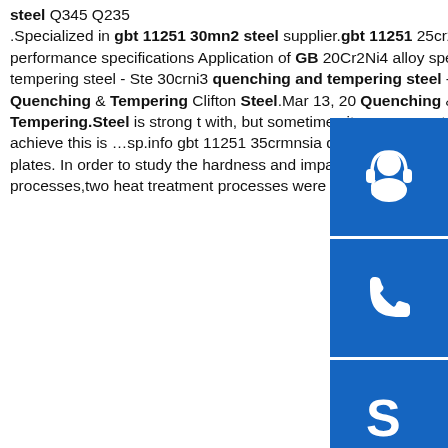steel Q345 Q235 .Specialized in gbt 11251 30mn2 steel supplier.gbt 11251 25cr2ni4wa steel equivalent materialGBT 11251 40CrNi steel performance specifications Application of GB 20Cr2Ni4 alloy special steel GBT 11251 …sp.info 11251 40mnb quenching and tempering steel - Ste 30crni3 quenching and tempering steel - Carbon JIS gbt 11251 40mnb quenching and tempering Quenching & Tempering Clifton Steel.Mar 13, 20 Quenching & Tempering Posted on Tuesday, Mar 2018.Quenching and Tempering.Steel is strong t with, but sometimes its necessary to make it even stronger. One of the common treatments to achieve this is …sp.info gbt 11251 35crmnsia quenching and tempering steelEffect of heat treatment process on impact - steel plates. In order to study the hardness and impact properties of GBT 11251 30CrMnSi steel with different quenching processes,two heat treatment processes were selected to study.First process is the conventional
[Figure (illustration): Three blue square icons on the right sidebar: headset/customer service icon, phone icon, and Skype icon]